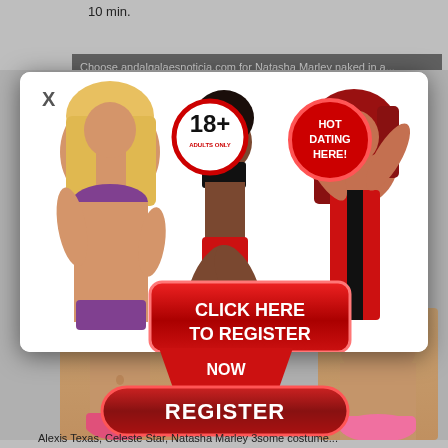10 min.
Choose andalgalaesnoticia.com for Natasha Marley naked in a...
[Figure (advertisement): Adult dating advertisement popup with three women in swimwear/lingerie. Contains an 18+ Adults Only badge (red circle), a HOT DATING HERE! badge (red circle), a red CLICK HERE TO REGISTER button, a NOW arrow label, and a red REGISTER pill button. Close X in top-left corner.]
Alexis Texas, Celeste Star, Natasha Marley 3some costume...